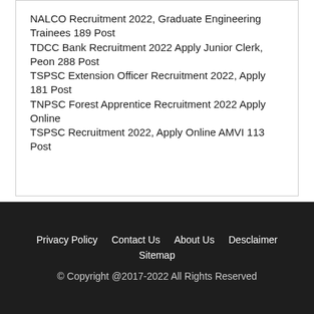NALCO Recruitment 2022, Graduate Engineering Trainees 189 Post
TDCC Bank Recruitment 2022 Apply Junior Clerk, Peon 288 Post
TSPSC Extension Officer Recruitment 2022, Apply 181 Post
TNPSC Forest Apprentice Recruitment 2022 Apply Online
TSPSC Recruitment 2022, Apply Online AMVI 113 Post
Privacy Policy   Contact Us   About Us   Desclaimer   Sitemap
© Copyright @2017-2022 All Rights Reserved